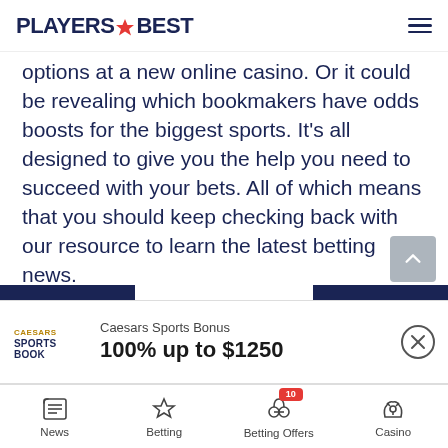PLAYERS BEST
options at a new online casino. Or it could be revealing which bookmakers have odds boosts for the biggest sports. It's all designed to give you the help you need to succeed with your bets. All of which means that you should keep checking back with our resource to learn the latest betting news.
[Figure (screenshot): Caesars Sportsbook bonus banner showing '100% up to $1250']
News | Betting | Betting Offers (10) | Casino